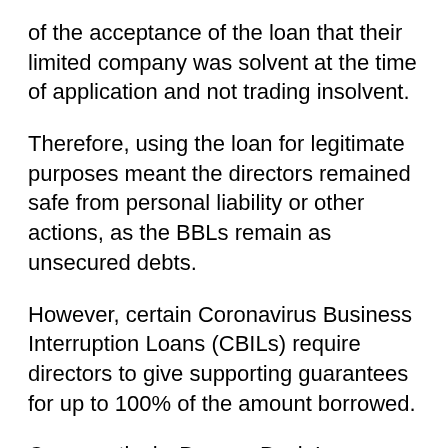of the acceptance of the loan that their limited company was solvent at the time of application and not trading insolvent.
Therefore, using the loan for legitimate purposes meant the directors remained safe from personal liability or other actions, as the BBLs remain as unsecured debts.
However, certain Coronavirus Business Interruption Loans (CBILs) require directors to give supporting guarantees for up to 100% of the amount borrowed.
Comparatively, Bounce Back Loans scheme lenders require no guarantees, making the process easier.